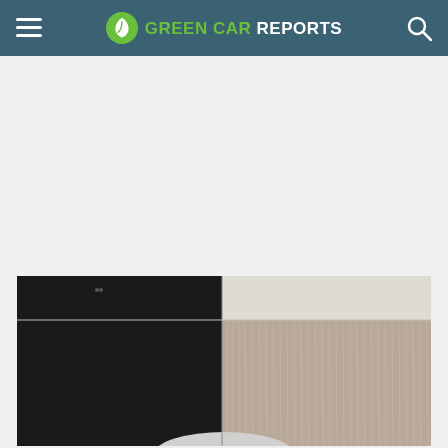GREEN CAR REPORTS
[Figure (photo): Partial view of a car inside a modern showroom or garage with dark wood paneling and light ceiling panels. The top curved roofline of a white/silver car is barely visible at the bottom center of the image.]